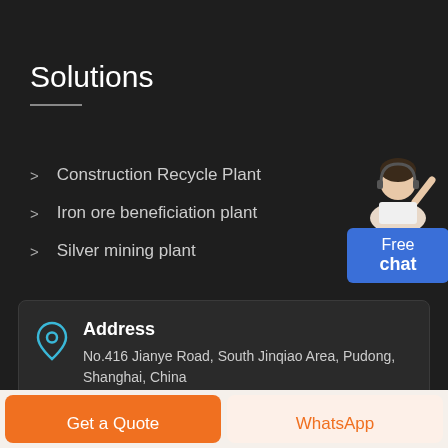Solutions
Construction Recycle Plant
Iron ore beneficiation plant
Silver mining plant
[Figure (illustration): Customer service representative illustration with Free chat button in blue]
Address
No.416 Jianye Road, South Jinqiao Area, Pudong, Shanghai, China
Get a Quote
WhatsApp